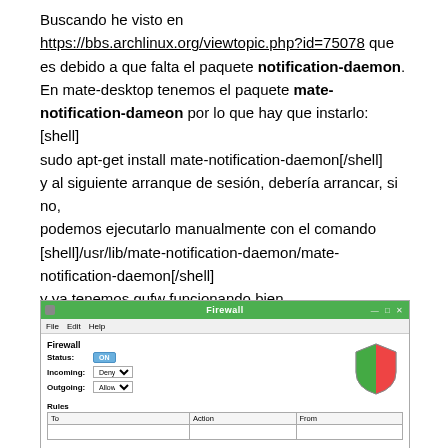Buscando he visto en https://bbs.archlinux.org/viewtopic.php?id=75078 que es debido a que falta el paquete notification-daemon. En mate-desktop tenemos el paquete mate-notification-dameon por lo que hay que instarlo: [shell] sudo apt-get install mate-notification-daemon[/shell] y al siguiente arranque de sesión, debería arrancar, si no, podemos ejecutarlo manualmente con el comando [shell]/usr/lib/mate-notification-daemon/mate-notification-daemon[/shell] y ya tenemos gufw funcionando bien
[Figure (screenshot): Screenshot of a Firewall application window (gufw) showing Status: ON, Incoming: Deny, Outgoing: Allow, and a Rules table with columns To, Action, From]